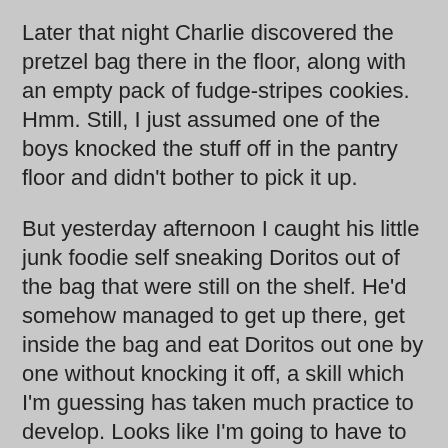Later that night Charlie discovered the pretzel bag there in the floor, along with an empty pack of fudge-stripes cookies. Hmm. Still, I just assumed one of the boys knocked the stuff off in the pantry floor and didn't bother to pick it up.
But yesterday afternoon I caught his little junk foodie self sneaking Doritos out of the bag that were still on the shelf. He'd somehow managed to get up there, get inside the bag and eat Doritos out one by one without knocking it off, a skill which I'm guessing has taken much practice to develop. Looks like I'm going to have to put a sign on the pantry door reminding us all to shut it all.the.way.
Sometimes I think we're insane for keeping three dogs in the house. Monday morning I caught Brisco Darling (halfway to China already) attempting to dig out the back sidewalk, no doubt after some little critter of mine, not a care in the whole wide world.